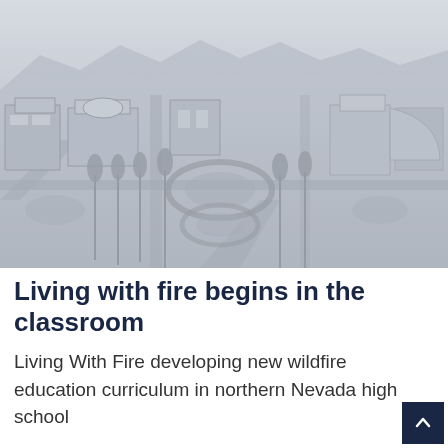[Figure (photo): Aerial black and white photograph of a university campus with buildings, circular plazas, walkways, trees, and mountains in the background. The image has a light gray/desaturated tone.]
Living with fire begins in the classroom
Living With Fire developing new wildfire education curriculum in northern Nevada high school